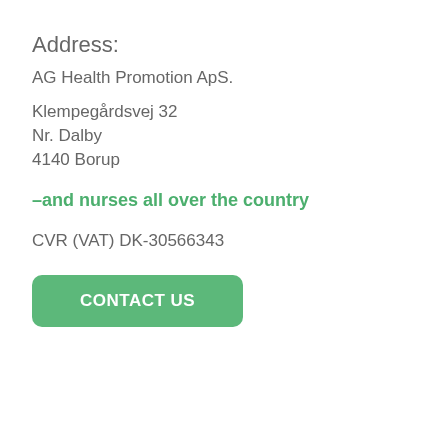Address:
AG Health Promotion ApS.
Klempegårdsvej 32
Nr. Dalby
4140 Borup
–and nurses all over the country
CVR (VAT) DK-30566343
CONTACT US